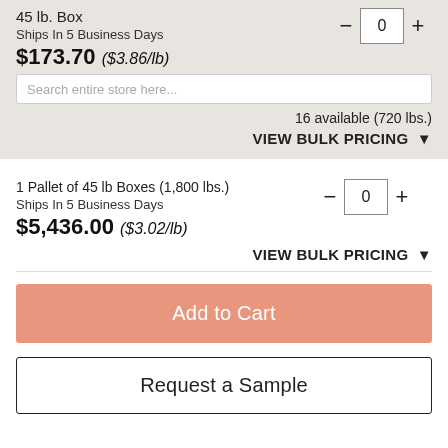45 lb. Box
Ships In 5 Business Days
$173.70 ($3.86/lb)
Search entire store here...
16 available (720 lbs.)
VIEW BULK PRICING
1 Pallet of 45 lb Boxes (1,800 lbs.)
Ships In 5 Business Days
$5,436.00 ($3.02/lb)
VIEW BULK PRICING
Add to Cart
Request a Sample